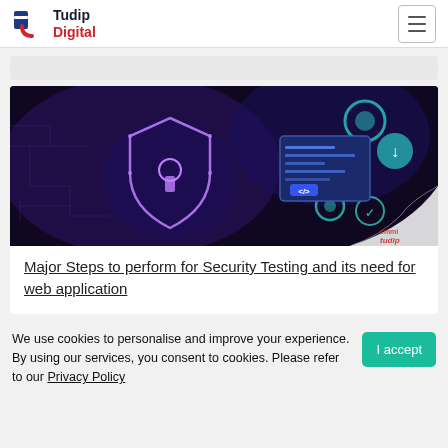Tudip Digital
[Figure (illustration): Security testing themed banner image with a glowing shield icon on the left and tech/code interface icons on the right on a dark purple background, with a page-curl effect in the bottom right corner and a Tudip logo watermark.]
Major Steps to perform for Security Testing and its need for web application
We use cookies to personalise and improve your experience. By using our services, you consent to cookies. Please refer to our Privacy Policy